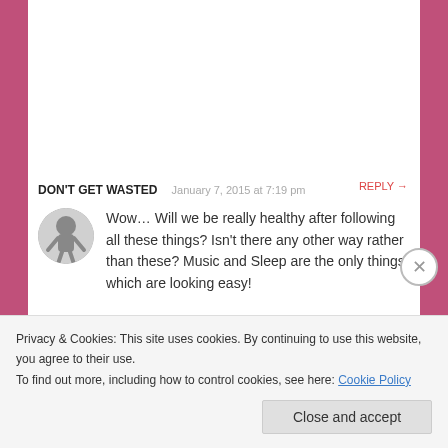DON'T GET WASTED   January 7, 2015 at 7:19 pm   REPLY →
Wow… Will we be really healthy after following all these things? Isn't there any other way rather than these? Music and Sleep are the only things which are looking easy!
★ Liked by 1 person
Privacy & Cookies: This site uses cookies. By continuing to use this website, you agree to their use. To find out more, including how to control cookies, see here: Cookie Policy
Close and accept